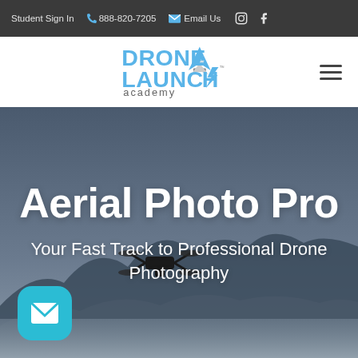Student Sign In  |  888-820-7205  |  Email Us
[Figure (logo): Drone Launch Academy logo — blue text with stylized rocket/lightning bolt icon]
Aerial Photo Pro
Your Fast Track to Professional Drone Photography
[Figure (photo): Aerial hero background showing a drone in flight over misty mountain landscape at dusk, blue-grey tones]